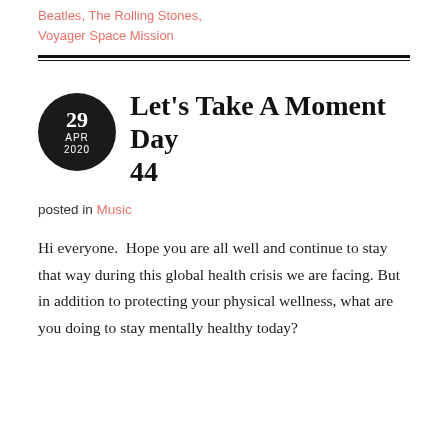Beatles, The Rolling Stones, Voyager Space Mission
Let's Take A Moment Day 44
posted in Music
Hi everyone.  Hope you are all well and continue to stay that way during this global health crisis we are facing. But in addition to protecting your physical wellness, what are you doing to stay mentally healthy today?